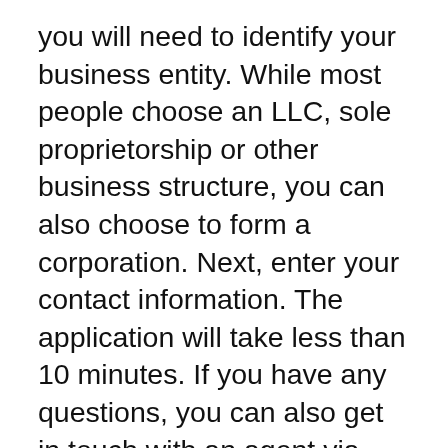you will need to identify your business entity. While most people choose an LLC, sole proprietorship or other business structure, you can also choose to form a corporation. Next, enter your contact information. The application will take less than 10 minutes. If you have any questions, you can also get in touch with an agent via chat or email.
Inc Authority’s customer support is another important aspect. Live chat, email and phone support are available by dedicated representatives. You can also choose between multiple design options for 500 personalized business cards. This option will allow you to project a professional image and improve your business’s reputation. Inc Authority can help you with everything from